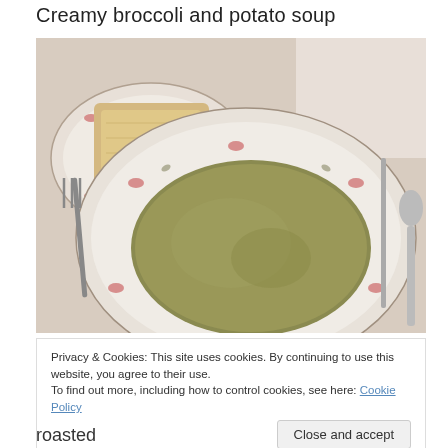Creamy broccoli and potato soup
[Figure (photo): A bowl of creamy broccoli and potato soup served on a decorative floral plate, with a slice of bread on a side plate, fork, knife, and spoon visible on a light tablecloth.]
Privacy & Cookies: This site uses cookies. By continuing to use this website, you agree to their use.
To find out more, including how to control cookies, see here: Cookie Policy
Close and accept
roasted